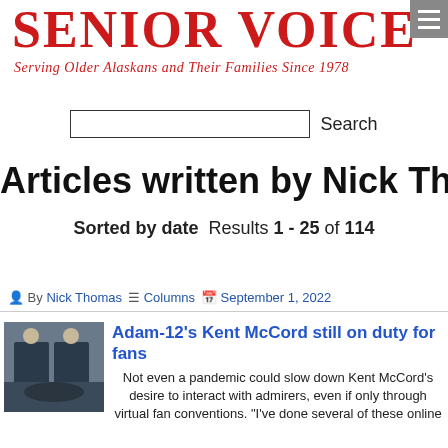[Figure (logo): Senior Voice newspaper logo — large red bold serif text reading SENIOR VOICE, subtitle in red italic: Serving Older Alaskans and Their Families Since 1978]
[Figure (other): Hamburger menu button — grey square with three white horizontal lines]
Search
Articles written by Nick Thomas
Sorted by date  Results 1 - 25 of 114
By Nick Thomas  Columns  September 1, 2022
[Figure (photo): Black and white photo of two police officers in uniform standing beside a patrol car, scene from Adam-12 TV show]
Adam-12's Kent McCord still on duty for fans
Not even a pandemic could slow down Kent McCord's desire to interact with admirers, even if only through virtual fan conventions. "I've done several of these online